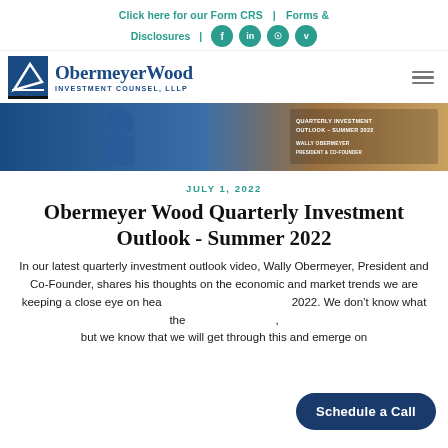Click here for our Form CRS | Forms & Disclosures
[Figure (logo): ObermeyerWood Investment Counsel, LLLP logo with blue square icon and text]
[Figure (photo): Hero banner image showing a person and quarterly investment outlook text: QUARTERLY INVESTMENT OUTLOOK - SUMMER 2022, WALLY OBERMEYER, PRESIDENT & CO-FOUNDER]
JULY 1, 2022
Obermeyer Wood Quarterly Investment Outlook - Summer 2022
In our latest quarterly investment outlook video, Wally Obermeyer, President and Co-Founder, shares his thoughts on the economic and market trends we are keeping a close eye on heading into the second half of 2022. We don't know what the future holds for markets, but we know that we will get through this and emerge on
Schedule a Call